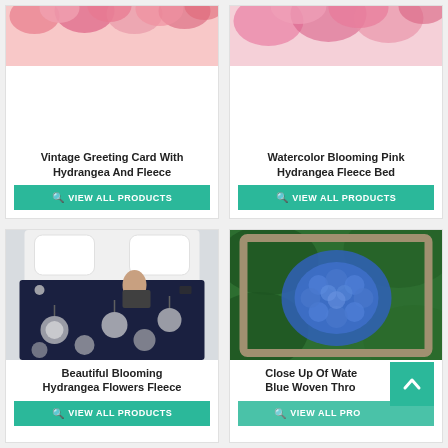[Figure (photo): Vintage greeting card with hydrangea flowers — top portion of product image visible at top of card]
Vintage Greeting Card With Hydrangea And Fleece
VIEW ALL PRODUCTS
[Figure (photo): Watercolor blooming pink hydrangea flowers — product image partially visible]
Watercolor Blooming Pink Hydrangea Fleece Bed
VIEW ALL PRODUCTS
[Figure (photo): Woman lying on bed using laptop on dark navy blue fleece blanket with white hydrangea flowers pattern]
Beautiful Blooming Hydrangea Flowers Fleece
VIEW ALL PRODUCTS
[Figure (photo): Close up of blue hydrangea flower on green leaves — woven throw blanket product image]
Close Up Of Watercolor On Blue Woven Throw Blanket
VIEW ALL PRODUCTS